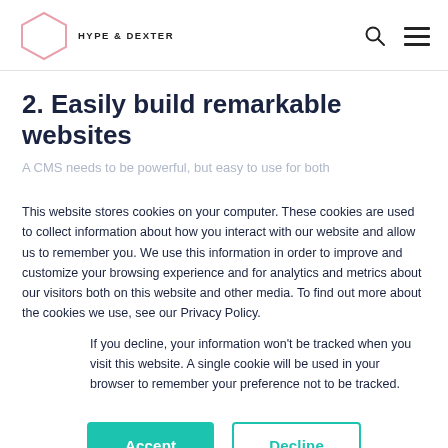HYPE & DEXTER
2. Easily build remarkable websites
A CMS needs to be powerful, but easy to use for both
This website stores cookies on your computer. These cookies are used to collect information about how you interact with our website and allow us to remember you. We use this information in order to improve and customize your browsing experience and for analytics and metrics about our visitors both on this website and other media. To find out more about the cookies we use, see our Privacy Policy.
If you decline, your information won't be tracked when you visit this website. A single cookie will be used in your browser to remember your preference not to be tracked.